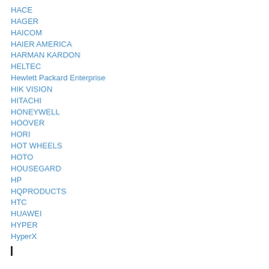HACE
HAGER
HAICOM
HAIER AMERICA
HARMAN KARDON
HELTEC
Hewlett Packard Enterprise
HIK VISION
HITACHI
HONEYWELL
HOOVER
HORI
HOT WHEELS
HOTO
HOUSEGARD
HP
HQPRODUCTS
HTC
HUAWEI
HYPER
HyperX